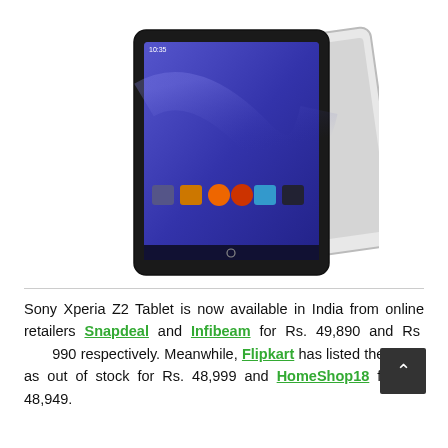[Figure (photo): Sony Xperia Z2 tablet product image showing the tablet from an angle, with a black bezel and a blue homescreen displayed, with a white cover/stand behind it.]
Sony Xperia Z2 Tablet is now available in India from online retailers Snapdeal and Infibeam for Rs. 49,890 and Rs. 49,990 respectively. Meanwhile, Flipkart has listed the same as out of stock for Rs. 48,999 and HomeShop18 for Rs. 48,949.